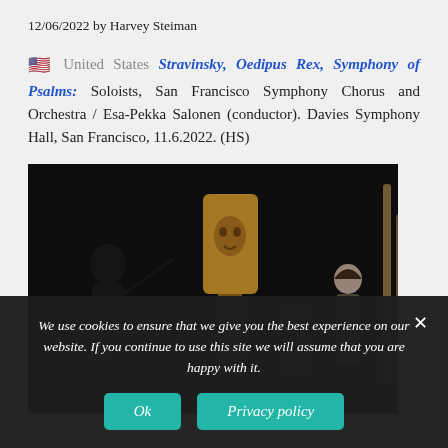12/06/2022 by Harvey Steiman
🇺🇸 United States Stravinsky, Oedipus Rex, Symphony of Psalms: Soloists, San Francisco Symphony Chorus and Orchestra / Esa-Pekka Salonen (conductor). Davies Symphony Hall, San Francisco, 11.6.2022. (HS)
[Figure (photo): Concert photo showing a conductor from behind with baton raised, a large decorative mask center stage, a seated man, and a woman standing to the right, all against a dark stage background.]
We use cookies to ensure that we give you the best experience on our website. If you continue to use this site we will assume that you are happy with it.
Ok
Privacy policy